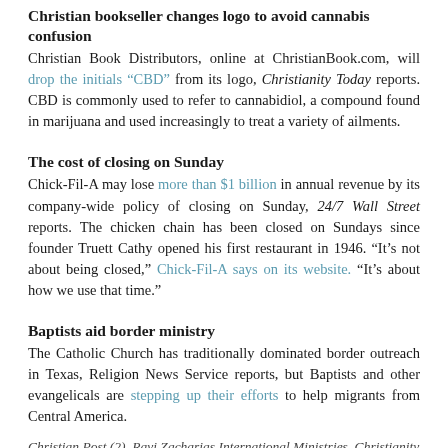Christian bookseller changes logo to avoid cannabis confusion
Christian Book Distributors, online at ChristianBook.com, will drop the initials “CBD” from its logo, Christianity Today reports. CBD is commonly used to refer to cannabidiol, a compound found in marijuana and used increasingly to treat a variety of ailments.
The cost of closing on Sunday
Chick-Fil-A may lose more than $1 billion in annual revenue by its company-wide policy of closing on Sunday, 24/7 Wall Street reports. The chicken chain has been closed on Sundays since founder Truett Cathy opened his first restaurant in 1946. “It’s not about being closed,” Chick-Fil-A says on its website. “It’s about how we use that time.”
Baptists aid border ministry
The Catholic Church has traditionally dominated border outreach in Texas, Religion News Service reports, but Baptists and other evangelicals are stepping up their efforts to help migrants from Central America.
Christian Post (2), Ravi Zacharias International Ministries, Christianity Today, 24/7 Wall Street, Chick-Fil-A, Religion News Service